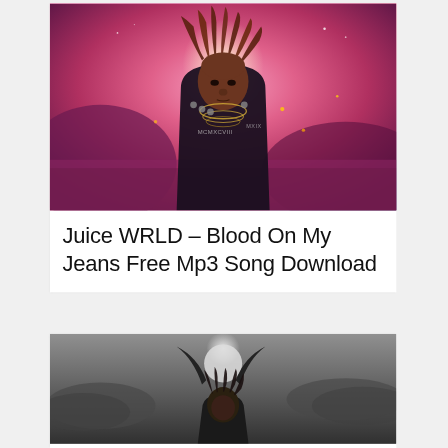[Figure (photo): Album art or promotional photo of Juice WRLD with pink/magenta background, showing rapper with dreadlocks and jeweled jacket]
Juice WRLD – Blood On My Jeans Free Mp3 Song Download
[Figure (photo): Black and white or dark grayscale photo of a figure with dark cloudy sky background, partially visible at bottom of page]